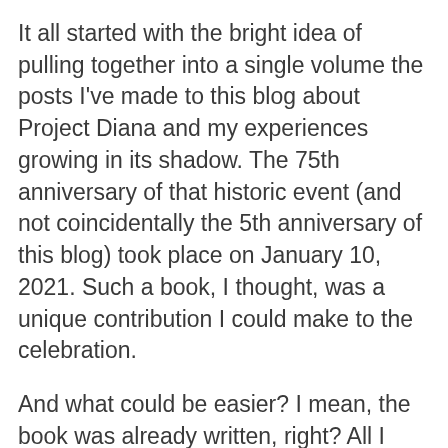It all started with the bright idea of pulling together into a single volume the posts I've made to this blog about Project Diana and my experiences growing in its shadow. The 75th anniversary of that historic event (and not coincidentally the 5th anniversary of this blog) took place on January 10, 2021. Such a book, I thought, was a unique contribution I could make to the celebration.
And what could be easier? I mean, the book was already written, right? All I had to do was rearrange my entries a little and write an intro.
How wrong I was!
Although many (though not all) of the essays started life as blog posts, they have been extensively revised and updated, and in some